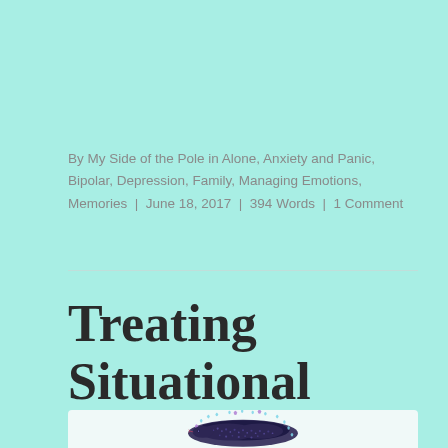By My Side of the Pole in Alone, Anxiety and Panic, Bipolar, Depression, Family, Managing Emotions, Memories | June 18, 2017 | 394 Words | 1 Comment
Treating Situational Depression
[Figure (illustration): Decorative illustration of a stylized snake or creature made of dark navy/purple dotted patterns with light blue and purple raindrop shapes surrounding it, on a light background]